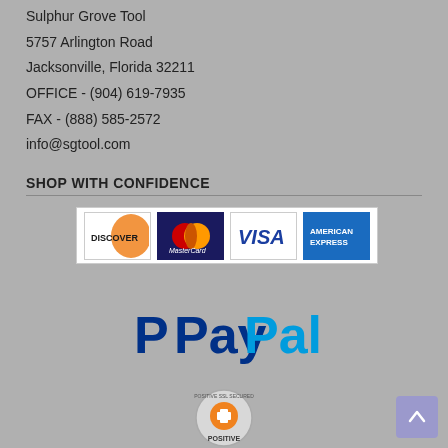Sulphur Grove Tool
5757 Arlington Road
Jacksonville, Florida 32211
OFFICE - (904) 619-7935
FAX - (888) 585-2572
info@sgtool.com
SHOP WITH CONFIDENCE
[Figure (logo): Payment card logos: Discover, MasterCard, Visa, American Express]
[Figure (logo): PayPal logo]
[Figure (logo): Positive SSL Secured Website badge]